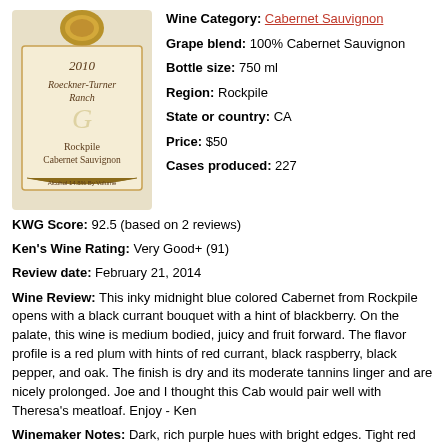[Figure (photo): Wine bottle label for 2010 Roeckner-Turner Ranch Rockpile Cabernet Sauvignon, Alcohol 14.8% By Volume]
Wine Category: Cabernet Sauvignon
Grape blend: 100% Cabernet Sauvignon
Bottle size: 750 ml
Region: Rockpile
State or country: CA
Price: $50
Cases produced: 227
KWG Score: 92.5 (based on 2 reviews)
Ken's Wine Rating: Very Good+ (91)
Review date: February 21, 2014
Wine Review: This inky midnight blue colored Cabernet from Rockpile opens with a black currant bouquet with a hint of blackberry. On the palate, this wine is medium bodied, juicy and fruit forward. The flavor profile is a red plum with hints of red currant, black raspberry, black pepper, and oak. The finish is dry and its moderate tannins linger and are nicely prolonged. Joe and I thought this Cab would pair well with Theresa's meatloaf. Enjoy - Ken
Winemaker Notes: Dark, rich purple hues with bright edges. Tight red berry fruit, dark bing cherry, light vanilla tones, and a hint of floral violets